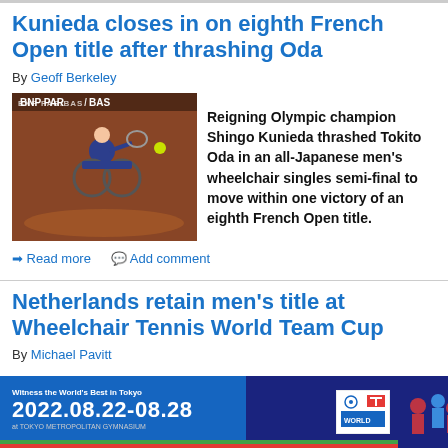Kunieda closes in on eighth French Open title after thrashing Oda
By Geoff Berkeley
[Figure (photo): Wheelchair tennis player hitting a ball on clay court with BNP Paribas branding visible in background]
Reigning Olympic champion Shingo Kunieda thrashed Tokito Oda in an all-Japanese men's wheelchair singles semi-final to move within one victory of an eighth French Open title.
➔ Read more   💬 Add comment
Netherlands retain men's title at Wheelchair Tennis World Team Cup
By Michael Pavitt
The Netherlands retained their men's
[Figure (photo): Tokyo 2022 World Table Tennis Championship advertisement banner with date 2022.08.22-08.28 at Tokyo Metropolitan Gymnasium]